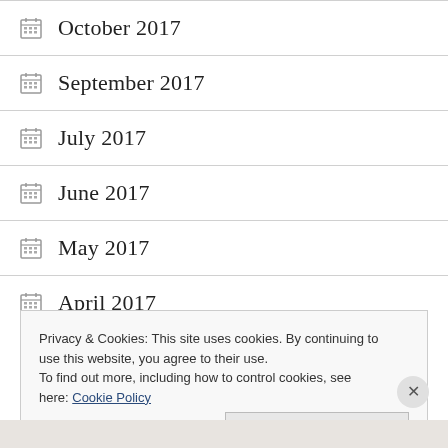October 2017
September 2017
July 2017
June 2017
May 2017
April 2017
Privacy & Cookies: This site uses cookies. By continuing to use this website, you agree to their use.
To find out more, including how to control cookies, see here: Cookie Policy
Close and accept